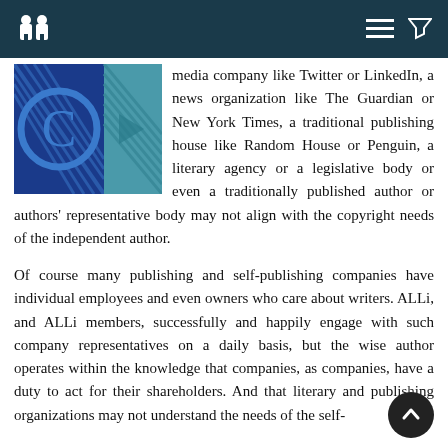ALLi header with logo and navigation icons
[Figure (illustration): Blue copyright symbol image on dark blue and teal background]
media company like Twitter or LinkedIn, a news organization like The Guardian or New York Times, a traditional publishing house like Random House or Penguin, a literary agency or a legislative body or even a traditionally published author or authors' representative body may not align with the copyright needs of the independent author.
Of course many publishing and self-publishing companies have individual employees and even owners who care about writers. ALLi, and ALLi members, successfully and happily engage with such company representatives on a daily basis, but the wise author operates within the knowledge that companies, as companies, have a duty to act for their shareholders. And that literary and publishing organizations may not understand the needs of the self-